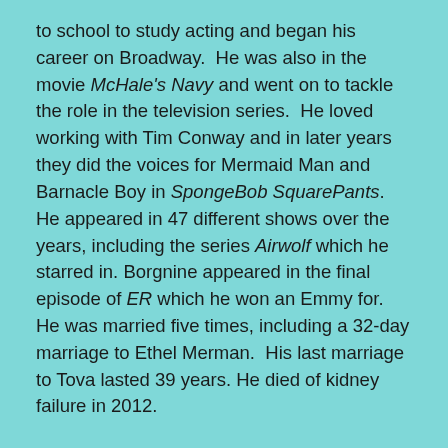to school to study acting and began his career on Broadway. He was also in the movie McHale's Navy and went on to tackle the role in the television series. He loved working with Tim Conway and in later years they did the voices for Mermaid Man and Barnacle Boy in SpongeBob SquarePants. He appeared in 47 different shows over the years, including the series Airwolf which he starred in. Borgnine appeared in the final episode of ER which he won an Emmy for. He was married five times, including a 32-day marriage to Ethel Merman. His last marriage to Tova lasted 39 years. He died of kidney failure in 2012.
Raymond Burr. Best known as Perry Mason, Burr started his career on Broadway in the 1940s and then appeared in 50 films from 1946-1957. In 1956 he auditioned for the role of Hamilton Burger, the DA in